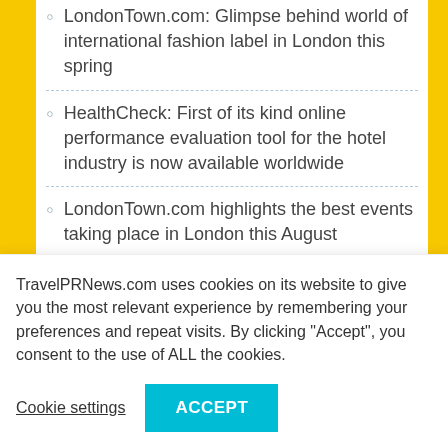LondonTown.com: Glimpse behind world of international fashion label in London this spring
HealthCheck: First of its kind online performance evaluation tool for the hotel industry is now available worldwide
LondonTown.com highlights the best events taking place in London this August
LondonTown.com: Join London Zoo's celebrations for a very special bear
LondonTown.com: Meet the massive mammoths at the Natural History Museum this
TravelPRNews.com uses cookies on its website to give you the most relevant experience by remembering your preferences and repeat visits. By clicking “Accept”, you consent to the use of ALL the cookies.
Cookie settings | ACCEPT